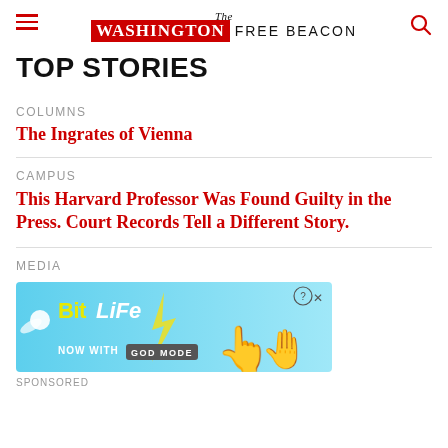The Washington Free Beacon
TOP STORIES
COLUMNS
The Ingrates of Vienna
CAMPUS
This Harvard Professor Was Found Guilty in the Press. Court Records Tell a Different Story.
MEDIA
[Figure (screenshot): BitLife advertisement banner: light blue background with BitLife logo in yellow/white, sperm icon, lightning bolt, text 'NOW WITH GOD MODE', pointing hand illustration, close and question mark buttons]
SPONSORED